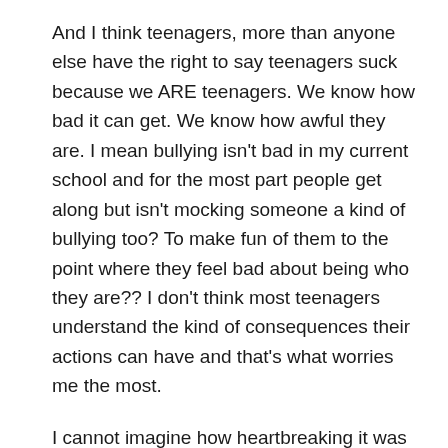And I think teenagers, more than anyone else have the right to say teenagers suck because we ARE teenagers. We know how bad it can get. We know how awful they are. I mean bullying isn't bad in my current school and for the most part people get along but isn't mocking someone a kind of bullying too? To make fun of them to the point where they feel bad about being who they are?? I don't think most teenagers understand the kind of consequences their actions can have and that's what worries me the most.
I cannot imagine how heartbreaking it was for you to read this book. I imagine I'd tear up a little too (or dry cry).